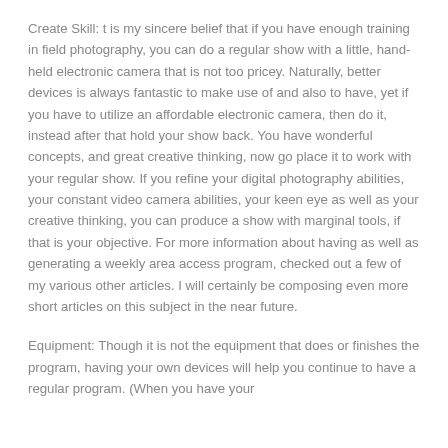Create Skill: t is my sincere belief that if you have enough training in field photography, you can do a regular show with a little, hand-held electronic camera that is not too pricey. Naturally, better devices is always fantastic to make use of and also to have, yet if you have to utilize an affordable electronic camera, then do it, instead after that hold your show back. You have wonderful concepts, and great creative thinking, now go place it to work with your regular show. If you refine your digital photography abilities, your constant video camera abilities, your keen eye as well as your creative thinking, you can produce a show with marginal tools, if that is your objective. For more information about having as well as generating a weekly area access program, checked out a few of my various other articles. I will certainly be composing even more short articles on this subject in the near future.
Equipment: Though it is not the equipment that does or finishes the program, having your own devices will help you continue to have a regular program. (When you have your